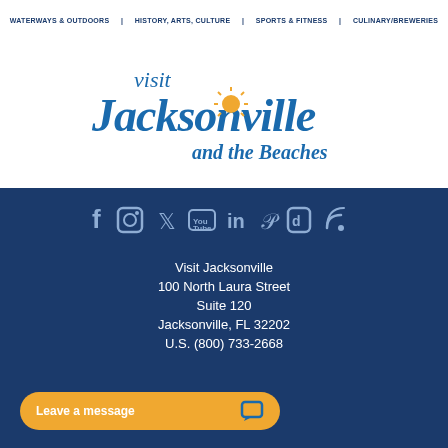WATERWAYS & OUTDOORS | HISTORY, ARTS, CULTURE | SPORTS & FITNESS | CULINARY/BREWERIES
[Figure (logo): Visit Jacksonville and the Beaches logo with cursive blue text and orange sun]
[Figure (infographic): Social media icons row: Facebook, Instagram, Twitter, YouTube, LinkedIn, Pinterest, TikTok, RSS]
Visit Jacksonville
100 North Laura Street
Suite 120
Jacksonville, FL 32202
U.S. (800) 733-2668
Leave a message